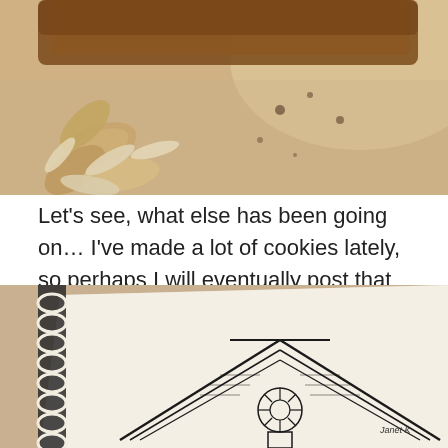[Figure (photo): Close-up food photo showing baked pastry or cookie with sliced almonds on parchment paper]
Let's see, what else has been going on… I've made a lot of cookies lately, so perhaps I will eventually post that recipe here. More drawing, of course!
[Figure (photo): Photo of a spiral-bound sketchbook showing a detailed ink drawing of a building rooftop with decorative architectural elements]